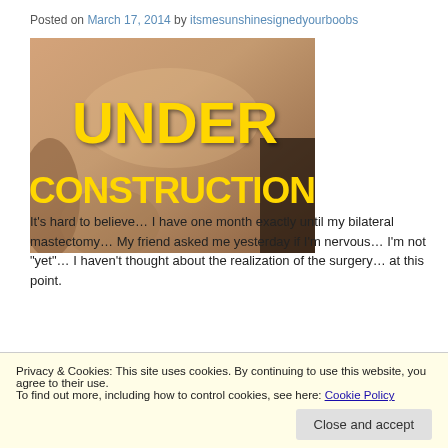Posted on March 17, 2014 by itsmesunshinesignedyourboobs
[Figure (photo): Photo showing a person's chest with bold yellow text overlay reading 'UNDER CONSTRUCTION']
It's hard to believe… I have one month exactly until my bilateral mastectomy… My friend asked me yesterday if I'm nervous… I'm not "yet"… I haven't thought about the realization of the surgery… at this point.
Privacy & Cookies: This site uses cookies. By continuing to use this website, you agree to their use.
To find out more, including how to control cookies, see here: Cookie Policy